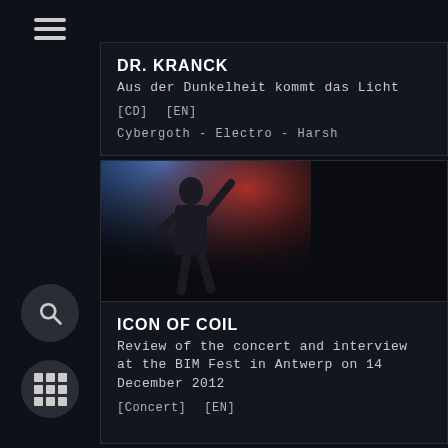[Figure (screenshot): Hamburger menu icon (three horizontal lines) in the left sidebar]
DR. KRANCK
Aus der Dunkelheit kommt das Licht
[CD]   [EN]
Cybergoth - Electro - Harsh
[Figure (photo): Concert photo showing a performer on stage with blue and red stage lighting]
ICON OF COIL
Review of the concert and interview at the BIM Fest in Antwerp on 14 December 2012
[Concert]   [EN]
[Figure (screenshot): Search icon (magnifying glass) in a dark circle in the left sidebar]
[Figure (screenshot): Grid/apps icon (3x3 dots) in a dark circle in the left sidebar]